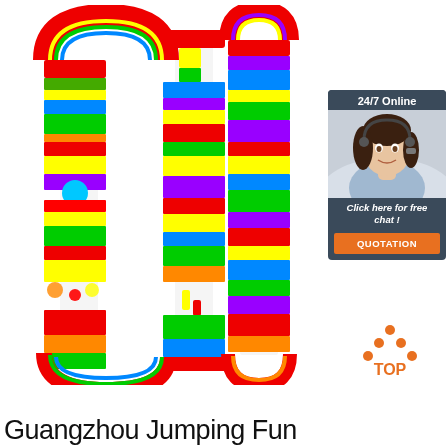[Figure (photo): Colorful long inflatable obstacle course / playground equipment shown in a vertical U-shape layout with red, yellow, green, blue, purple sections]
[Figure (infographic): 24/7 Online chat widget with photo of female customer service agent wearing headset, 'Click here for free chat!' text, and orange QUOTATION button]
[Figure (logo): Orange dots forming triangle shape above the text TOP in orange]
Guangzhou Jumping Fun